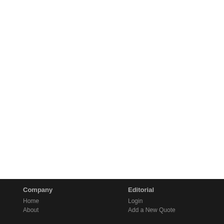Company
Home
About
Editorial
Login
Add a New Quote